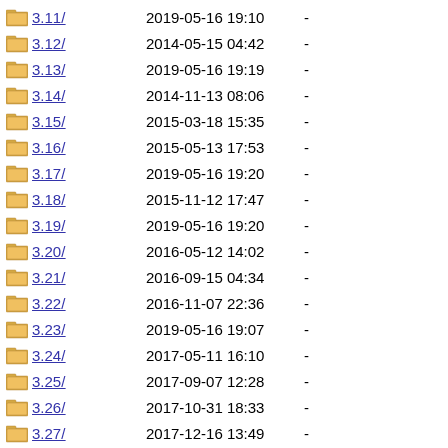3.11/ 2019-05-16 19:10 -
3.12/ 2014-05-15 04:42 -
3.13/ 2019-05-16 19:19 -
3.14/ 2014-11-13 08:06 -
3.15/ 2015-03-18 15:35 -
3.16/ 2015-05-13 17:53 -
3.17/ 2019-05-16 19:20 -
3.18/ 2015-11-12 17:47 -
3.19/ 2019-05-16 19:20 -
3.20/ 2016-05-12 14:02 -
3.21/ 2016-09-15 04:34 -
3.22/ 2016-11-07 22:36 -
3.23/ 2019-05-16 19:07 -
3.24/ 2017-05-11 16:10 -
3.25/ 2017-09-07 12:28 -
3.26/ 2017-10-31 18:33 -
3.27/ 2017-12-16 13:49 -